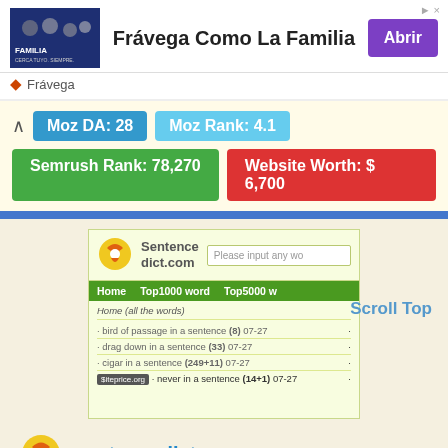[Figure (screenshot): Advertisement banner for Frávega Como La Familia with image, text, and Abrir button]
◆ Frávega
Moz DA: 28  Moz Rank: 4.1
Semrush Rank: 78,270  Website Worth: $ 6,700
[Figure (screenshot): Screenshot of sentencedict.com showing navigation, search bar, and word list entries including bird of passage, drag down, cigar, never in a sentence]
Scroll Top
sentencedict.com